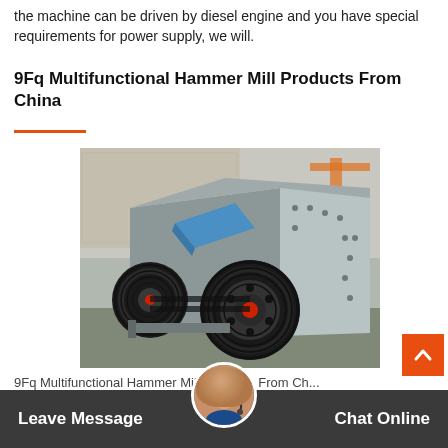the machine can be driven by diesel engine and you have special requirements for power supply, we will.
9Fq Multifunctional Hammer Mill Products From China
[Figure (photo): A large gray multifunctional hammer mill machine with two large black pulley wheels, a blue feed chute, and red hub accents, photographed in an industrial yard.]
9Fq Multifunctional Hammer Mill Products From Ch...
Hammer mill type feed grinder corn crusher 9fq200 dx...
Leave Message   Chat Online